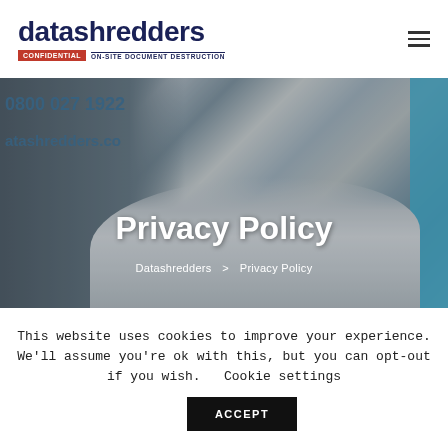[Figure (logo): DataShredders logo with red CONFIDENTIAL badge and ON-SITE DOCUMENT DESTRUCTION tagline]
[Figure (photo): Background photo of a shredding truck with shredded paper pile and Privacy Policy hero title overlay]
Privacy Policy
Datashredders > Privacy Policy
This website uses cookies to improve your experience. We'll assume you're ok with this, but you can opt-out if you wish. Cookie settings ACCEPT